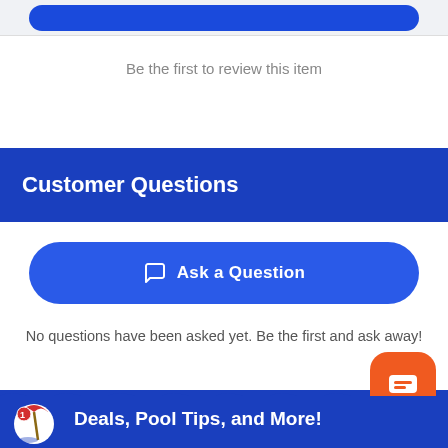Be the first to review this item
Customer Questions
[Figure (other): Blue rounded button labeled 'Ask a Question' with chat bubble icon]
No questions have been asked yet. Be the first and ask away!
Deals, Pool Tips, and More!